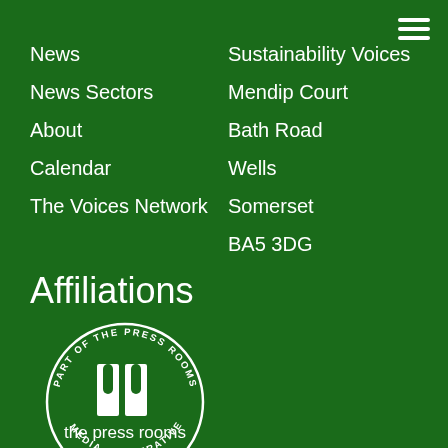News
News Sectors
About
Calendar
The Voices Network
Sustainability Voices
Mendip Court
Bath Road
Wells
Somerset
BA5 3DG
Affiliations
[Figure (logo): The Press Rooms Media Cooperative circular logo with two white rectangles (representing doors/press) in the center, surrounded by circular text reading 'PART OF THE PRESS ROOMS' at top and 'MEDIA COOPERATIVE' at bottom, with 'the press rooms' text below the icon.]